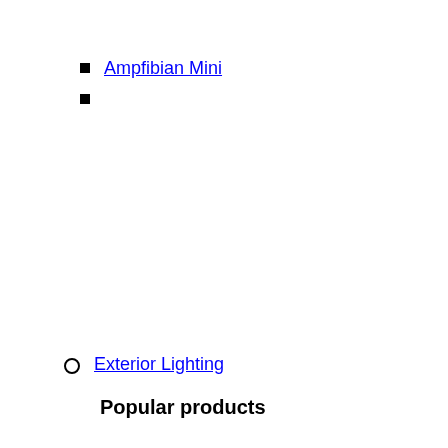Ampfibian Mini
Exterior Lighting
Popular products